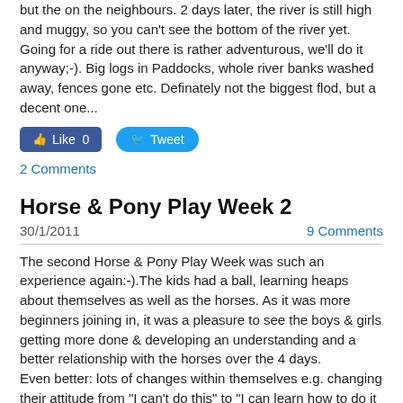but the on the neighbours. 2 days later, the river is still high and muggy, so you can't see the bottom of the river yet. Going for a ride out there is rather adventurous, we'll do it anyway;-). Big logs in Paddocks, whole river banks washed away, fences gone etc. Definately not the biggest flod, but a decent one...
[Figure (other): Facebook Like button (count: 0) and Twitter Tweet button]
2 Comments
Horse & Pony Play Week 2
30/1/2011    9 Comments
The second Horse & Pony Play Week was such an experience again:-).The kids had a ball, learning heaps about themselves as well as the horses. As it was more beginners joining in, it was a pleasure to see the boys & girls getting more done & developing an understanding and a better relationship with the horses over the 4 days.
Even better: lots of changes within themselves e.g. changing their attitude from "I can't do this" to "I can learn how to do it & I can give it my best":-). " Humanship for children...
Admittedly a more intense group & more time for the interactions among the